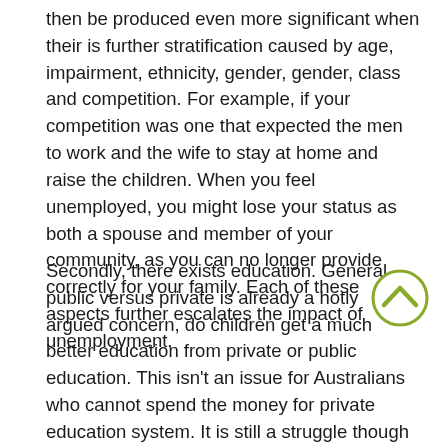then be produced even more significant when their is further stratification caused by age, impairment, ethnicity, gender, gender, class and competition. For example, if your competition was one that expected the men to work and the wife to stay at home and raise the children. When you feel unemployed, you might lose your status as both a spouse and member of your community, as you can no longer provide correctly for your family. Each of these aspects further escalates the impact of unemployment.
Secondly, there exists education. General public versus private is already a hotly argued concern, do children get a much better education from private or public education. This isn't an issue for Australians who cannot spend the money for private education system. It is still a struggle though to pay for catalogs, uniforms, excursions, camps and other institution activities. Add unemployment and the issue becomes even harder. If you currently have
[Figure (other): A circular scroll-up/chevron-up icon with a green-olive border and an upward-pointing chevron arrow, overlaid on the text in the top-right area of the second paragraph.]